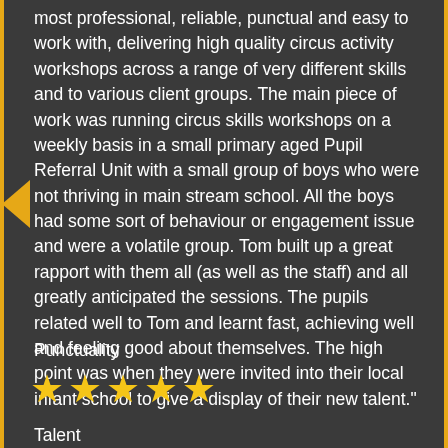most professional, reliable, punctual and easy to work with, delivering high quality circus activity workshops across a range of very different skills and to various client groups. The main piece of work was running circus skills workshops on a weekly basis in a small primary aged Pupil Referral Unit with a small group of boys who were not thriving in main stream school. All the boys had some sort of behaviour or engagement issue and were a volatile group. Tom built up a great rapport with them all (as well as the staff) and all greatly anticipated the sessions. The pupils related well to Tom and learnt fast, achieving well and feeling good about themselves. The high point was when they were invited into their local infant school to give a display of their new talent."
Punctuality
[Figure (other): Five gold star rating icons]
Talent